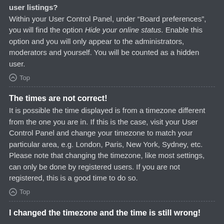user listings? Within your User Control Panel, under “Board preferences”, you will find the option Hide your online status. Enable this option and you will only appear to the administrators, moderators and yourself. You will be counted as a hidden user.
Top
The times are not correct!
It is possible the time displayed is from a timezone different from the one you are in. If this is the case, visit your User Control Panel and change your timezone to match your particular area, e.g. London, Paris, New York, Sydney, etc. Please note that changing the timezone, like most settings, can only be done by registered users. If you are not registered, this is a good time to do so.
Top
I changed the timezone and the time is still wrong!